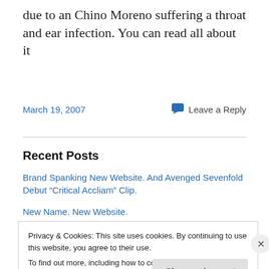due to an Chino Moreno suffering a throat and ear infection. You can read all about it
March 19, 2007
Leave a Reply
Recent Posts
Brand Spanking New Website. And Avenged Sevenfold Debut “Critical Accliam” Clip.
New Name. New Website.
Live With Regis, Kelly, And Good Charlotte.
Privacy & Cookies: This site uses cookies. By continuing to use this website, you agree to their use.
To find out more, including how to control cookies, see here: Cookie Policy
Close and accept